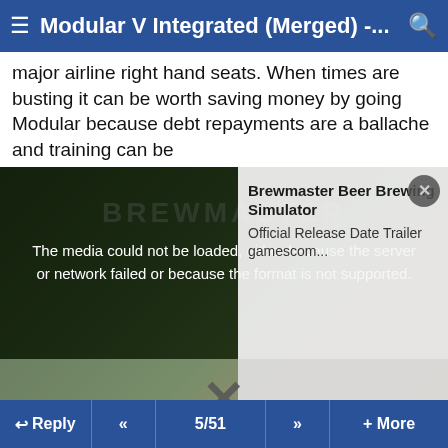≡ Modular V Integrated (Merged) -... 🔍
major airline right hand seats. When times are busting it can be worth saving money by going Modular because debt repayments are a ballache and training can be
[Figure (screenshot): Video player showing Brewmaster Beer Brewing Simulator Official Release Date Trailer gamescom... with error message: 'The media could not be loaded, either because the server or network failed or because the format is not supported.' A large X dismiss button is shown below the video.]
ps Flying magazines - and I've met a few of the Editors in my time - make ALL their profit on the advertisements in the back. Note that most of the larger and therefore expensive ones are from schools selling flight training. Have you ever heard the phrase 'never bite the hand that feeds you'? Well flying magazines stroke it, manicure it and paint its freakin' fingernails. Don't believe a word they say about pilot recruitment or employment. Not one word. Ever.
↩ Reply  «  5/51  »  + More